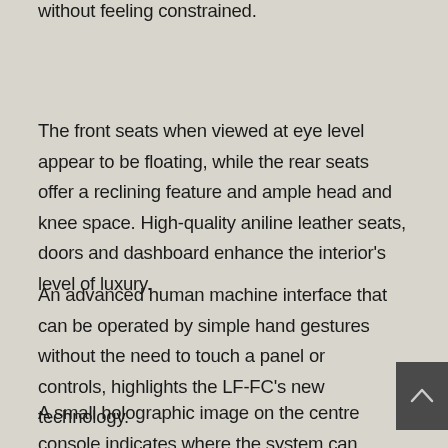without feeling constrained.
The front seats when viewed at eye level appear to be floating, while the rear seats offer a reclining feature and ample head and knee space. High-quality aniline leather seats, doors and dashboard enhance the interior's level of luxury.
An advanced human machine interface that can be operated by simple hand gestures without the need to touch a panel or controls, highlights the LF-FC's new technology.
A small holographic image on the centre console indicates where the system can interpret hand